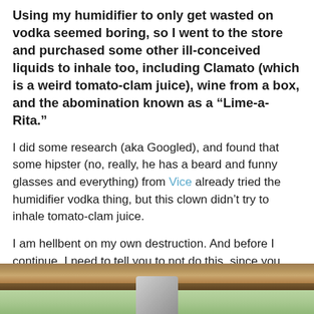Using my humidifier to only get wasted on vodka seemed boring, so I went to the store and purchased some other ill-conceived liquids to inhale too, including Clamato (which is a weird tomato-clam juice), wine from a box, and the abomination known as a “Lime-a-Rita.”
I did some research (aka Googled), and found that some hipster (no, really, he has a beard and funny glasses and everything) from Vice already tried the humidifier vodka thing, but this clown didn’t try to inhale tomato-clam juice.
I am hellbent on my own destruction. And before I continue, I need to tell you to not do this, since you could probably die from Clamato lung.
[Figure (photo): Partial photo showing a wooden window frame/beam at the top with green outdoor foliage visible through the window below, and a grey humidifier device partially visible in the center.]